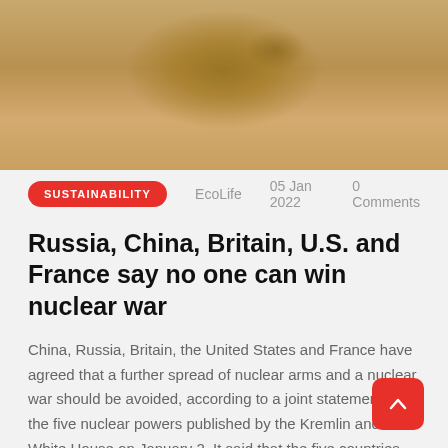[Figure (photo): Close-up photo of a golden/bronze surface with textured relief, possibly a coin or medal, showing partial map or embossed design in warm tan and gold tones.]
SUSTAINABILITY   EcoLife   05 Jan 2022   0 Comments
Russia, China, Britain, U.S. and France say no one can win nuclear war
China, Russia, Britain, the United States and France have agreed that a further spread of nuclear arms and a nuclear war should be avoided, according to a joint statement by the five nuclear powers published by the Kremlin and The White House on January 2. It said that the five countries – w... are the [...]